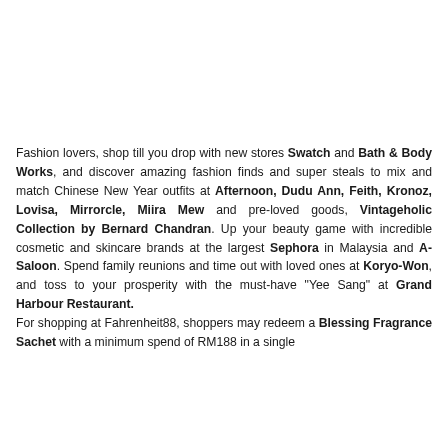Fashion lovers, shop till you drop with new stores Swatch and Bath & Body Works, and discover amazing fashion finds and super steals to mix and match Chinese New Year outfits at Afternoon, Dudu Ann, Feith, Kronoz, Lovisa, Mirrorcle, Miira Mew and pre-loved goods, Vintageholic Collection by Bernard Chandran. Up your beauty game with incredible cosmetic and skincare brands at the largest Sephora in Malaysia and A-Saloon. Spend family reunions and time out with loved ones at Koryo-Won, and toss to your prosperity with the must-have "Yee Sang" at Grand Harbour Restaurant.
For shopping at Fahrenheit88, shoppers may redeem a Blessing Fragrance Sachet with a minimum spend of RM188 in a single receipt...